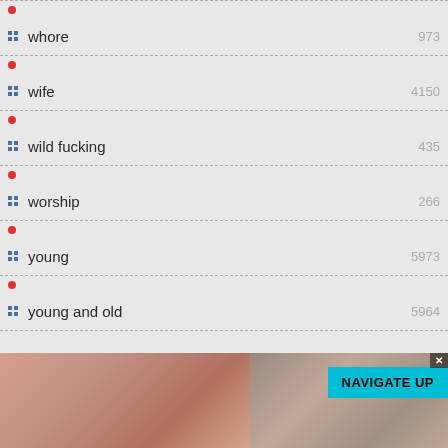whore
wife
wild fucking
worship
young
young and old
[Figure (photo): Two thumbnail images at the bottom of a webpage listing]